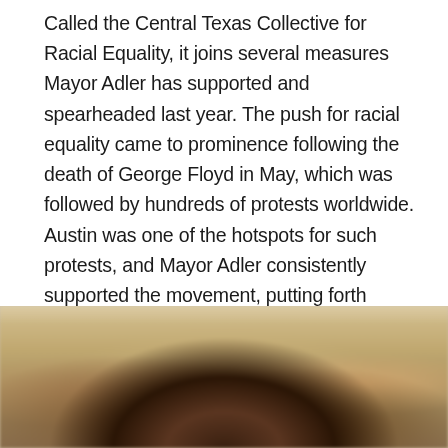Called the Central Texas Collective for Racial Equality, it joins several measures Mayor Adler has supported and spearheaded last year. The push for racial equality came to prominence following the death of George Floyd in May, which was followed by hundreds of protests worldwide. Austin was one of the hotspots for such protests, and Mayor Adler consistently supported the movement, putting forth drastic changes and taking the initiative on improving racial equality in the state capital. Despite opposition and counterprotest, Mayor Adler continues to implement new measures to this end, and this new non-profit organization is but one example.
[Figure (photo): A blurred outdoor photo showing a person with dark hair in the foreground, with trees and bokeh light background visible.]